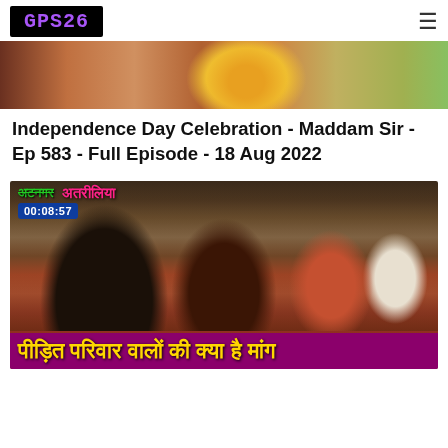GPS26
[Figure (photo): Top portion of a video thumbnail showing colorful rangoli/celebration scene]
Independence Day Celebration - Maddam Sir - Ep 583 - Full Episode - 18 Aug 2022
[Figure (photo): News video thumbnail showing a woman being interviewed with a microphone, timestamp 00:08:57, Hindi text overlay reading अटनगर अतरीलिया, bottom banner reading पीड़ित परिवार वालों की क्या है मांग]